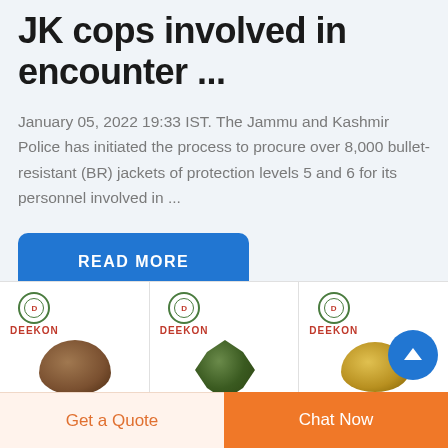JK cops involved in encounter ...
January 05, 2022 19:33 IST. The Jammu and Kashmir Police has initiated the process to procure over 8,000 bullet-resistant (BR) jackets of protection levels 5 and 6 for its personnel involved in ...
[Figure (other): Blue 'READ MORE' button]
[Figure (other): Product strip showing three DEEKON branded product images with logos]
[Figure (other): Blue circular scroll-up chevron button]
[Figure (other): Bottom action bar with 'Get a Quote' and 'Chat Now' buttons]